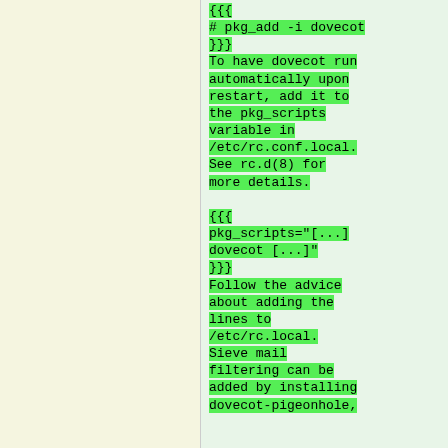{{{
# pkg_add -i dovecot
}}}
To have dovecot run automatically upon restart, add it to the pkg_scripts variable in /etc/rc.conf.local. See rc.d(8) for more details.

{{{
pkg_scripts="[...] dovecot [...]"
}}}
Follow the advice about adding the lines to /etc/rc.local. Sieve mail filtering can be added by installing dovecot-pigeonhole,